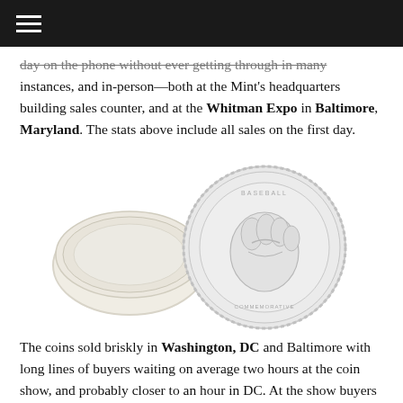≡
day on the phone without ever getting through in many instances, and in-person—both at the Mint's headquarters building sales counter, and at the Whitman Expo in Baltimore, Maryland. The stats above include all sales on the first day.
[Figure (photo): Two collectible coins shown side by side — a smaller gold/cream colored coin on the left viewed from a slight angle, and a larger silver coin on the right showing a baseball glove design.]
The coins sold briskly in Washington, DC and Baltimore with long lines of buyers waiting on average two hours at the coin show, and probably closer to an hour in DC. At the show buyers were limited to two gold coins per person and in DC the limit